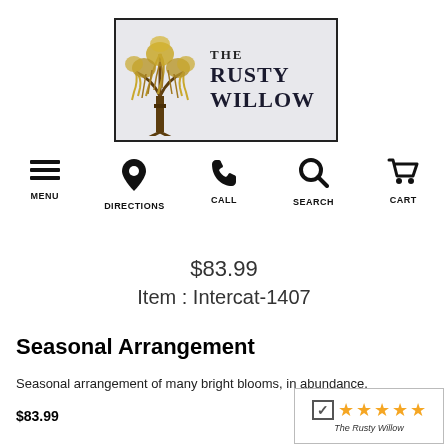[Figure (logo): The Rusty Willow logo with a golden willow tree on the left and bold text 'THE RUSTY WILLOW' on the right, inside a bordered rectangle]
MENU  DIRECTIONS  CALL  SEARCH  CART
$83.99
Item : Intercat-1407
Seasonal Arrangement
Seasonal arrangement of many bright blooms, in abundance.
$83.99
[Figure (logo): Shopper Approved rating badge with checkmark, 5 orange stars, and text 'The Rusty Willow']